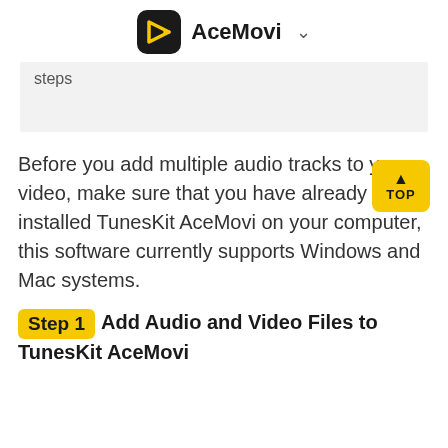AceMovi
steps
Before you add multiple audio tracks to your video, make sure that you have already installed TunesKit AceMovi on your computer, this software currently supports Windows and Mac systems.
Step 1   Add Audio and Video Files to TunesKit AceMovi